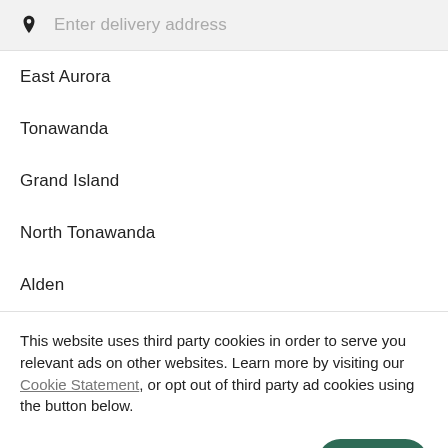[Figure (screenshot): Search bar with location pin icon and placeholder text 'Enter delivery address' on a light gray background]
East Aurora
Tonawanda
Grand Island
North Tonawanda
Alden
This website uses third party cookies in order to serve you relevant ads on other websites. Learn more by visiting our Cookie Statement, or opt out of third party ad cookies using the button below.
OPT OUT
GOT IT